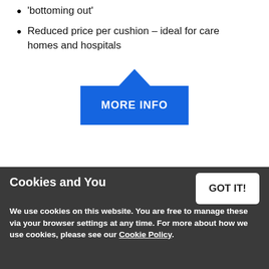'bottoming out'
Reduced price per cushion – ideal for care homes and hospitals
[Figure (illustration): Blue button/callout with upward arrow pointing tooltip shape and text 'MORE INFO']
[Figure (photo): Medical pressure relief cushion product with control unit, partially visible. Red circular HIGH RISK badge overlay.]
Cookies and You
We use cookies on this website. You are free to manage these via your browser settings at any time. For more about how we use cookies, please see our Cookie Policy.